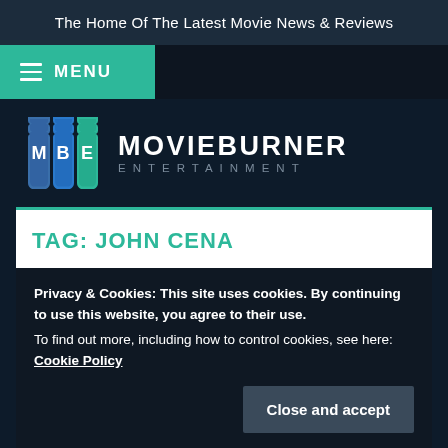The Home Of The Latest Movie News & Reviews
MOVIEBURNER ENTERTAINMENT
TAG: JOHN CENA
Privacy & Cookies: This site uses cookies. By continuing to use this website, you agree to their use.
To find out more, including how to control cookies, see here: Cookie Policy
Close and accept